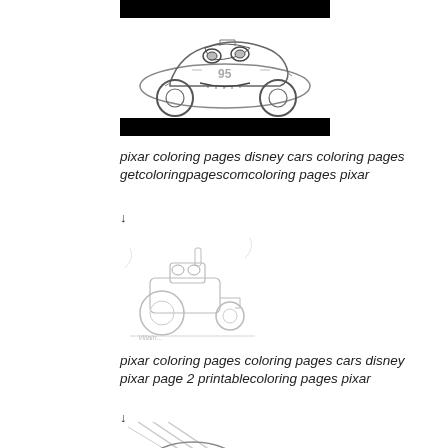[Figure (illustration): Coloring page of Lightning McQueen Disney Pixar Cars character, black and white outline drawing, with black bars above and below the image]
pixar coloring pages disney cars coloring pages getcoloringpagescomcoloring pages pixar
↓
[Figure (illustration): Coloring page of Mater or tractor character from Disney Pixar Cars, light gray outline drawing]
pixar coloring pages coloring pages cars disney pixar page 2 printablecoloring pages pixar
↓
[Figure (illustration): Close-up coloring page of Lightning McQueen face from Disney Pixar Cars, partial view]